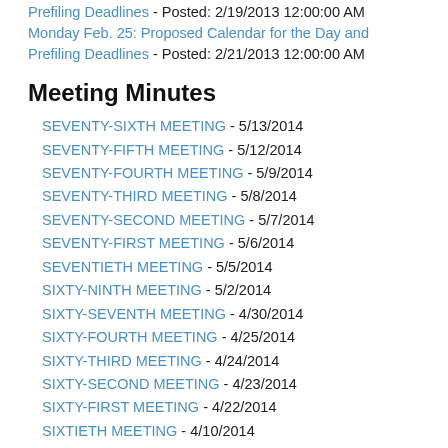Prefiling Deadlines - Posted: 2/19/2013 12:00:00 AM
Monday Feb. 25: Proposed Calendar for the Day and Prefiling Deadlines - Posted: 2/21/2013 12:00:00 AM
Meeting Minutes
SEVENTY-SIXTH MEETING - 5/13/2014
SEVENTY-FIFTH MEETING - 5/12/2014
SEVENTY-FOURTH MEETING - 5/9/2014
SEVENTY-THIRD MEETING - 5/8/2014
SEVENTY-SECOND MEETING - 5/7/2014
SEVENTY-FIRST MEETING - 5/6/2014
SEVENTIETH MEETING - 5/5/2014
SIXTY-NINTH MEETING - 5/2/2014
SIXTY-SEVENTH MEETING - 4/30/2014
SIXTY-FOURTH MEETING - 4/25/2014
SIXTY-THIRD MEETING - 4/24/2014
SIXTY-SECOND MEETING - 4/23/2014
SIXTY-FIRST MEETING - 4/22/2014
SIXTIETH MEETING - 4/10/2014
FIFTY-NINTH MEETING - 4/8/2014
FIFTY-EIGHTH MEETING - 4/7/2014
FIFTY-SEVENTH MEETING - 4/4/2014